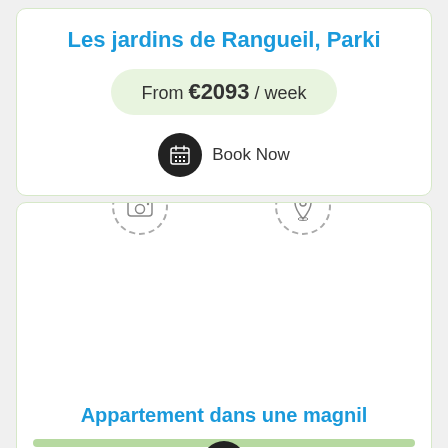Les jardins de Rangueil, Parki
From €2093 / week
Book Now
[Figure (illustration): Second listing card with camera icon placeholder, map pin icon, and blank image area]
Appartement dans une magnil